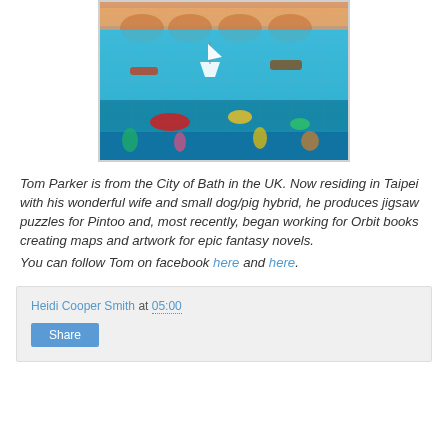[Figure (photo): A colorful jigsaw puzzle artwork showing boats, sea creatures, and a busy waterfront scene with bright blues, reds, and oranges.]
Tom Parker is from the City of Bath in the UK. Now residing in Taipei with his wonderful wife and small dog/pig hybrid, he produces jigsaw puzzles for Pintoo and, most recently, began working for Orbit books creating maps and artwork for epic fantasy novels.
You can follow Tom on facebook here and here.
Heidi Cooper Smith at 05:00
Share